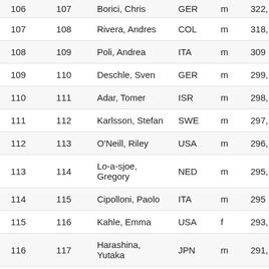|  |  | Name | NAT | Sex | Points |
| --- | --- | --- | --- | --- | --- |
| 106 | 107 | Borici, Chris | GER | m | 322, |
| 107 | 108 | Rivera, Andres | COL | m | 318, |
| 108 | 109 | Poli, Andrea | ITA | m | 309 |
| 109 | 110 | Deschle, Sven | GER | m | 299, |
| 110 | 111 | Adar, Tomer | ISR | m | 298, |
| 111 | 112 | Karlsson, Stefan | SWE | m | 297, |
| 112 | 113 | O'Neill, Riley | USA | m | 296, |
| 113 | 114 | Lo-a-sjoe, Gregory | NED | m | 295, |
| 114 | 115 | Cipolloni, Paolo | ITA | m | 295 |
| 115 | 116 | Kahle, Emma | USA | f | 293, |
| 116 | 117 | Harashina, Yutaka | JPN | m | 291, |